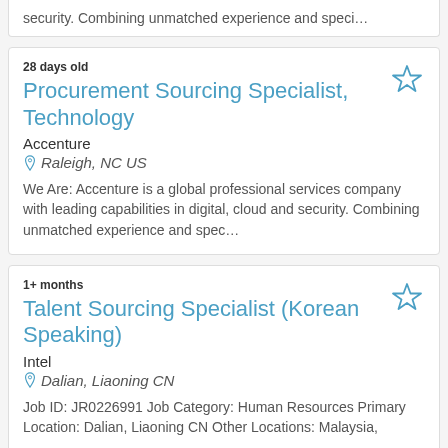security. Combining unmatched experience and speci…
28 days old
Procurement Sourcing Specialist, Technology
Accenture
Raleigh, NC US
We Are: Accenture is a global professional services company with leading capabilities in digital, cloud and security. Combining unmatched experience and spec…
1+ months
Talent Sourcing Specialist (Korean Speaking)
Intel
Dalian, Liaoning CN
Job ID: JR0226991 Job Category: Human Resources Primary Location: Dalian, Liaoning CN Other Locations: Malaysia,